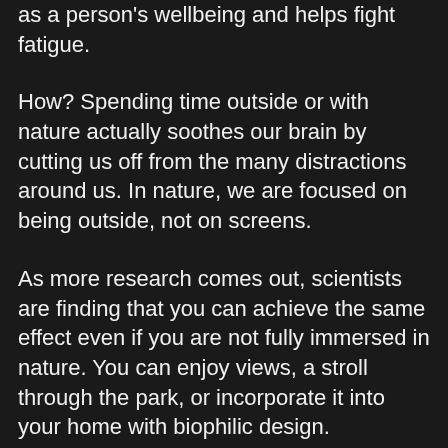as a person's wellbeing and helps fight fatigue.
How? Spending time outside or with nature actually soothes our brain by cutting us off from the many distractions around us. In nature, we are focused on being outside, not on screens.
As more research comes out, scientists are finding that you can achieve the same effect even if you are not fully immersed in nature. You can enjoy views, a stroll through the park, or incorporate it into your home with biophilic design.